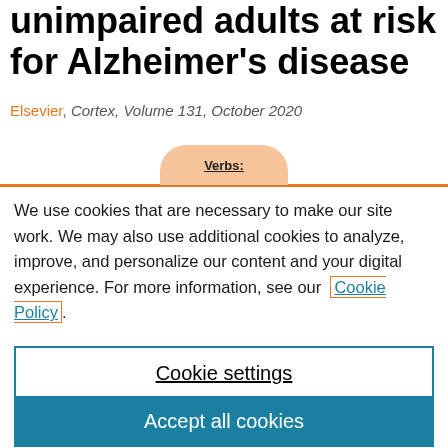unimpaired adults at risk for Alzheimer's disease
Elsevier, Cortex, Volume 131, October 2020
[Figure (other): Orange pill-shaped tooltip bubble with label 'Verbs:' partially visible above an orange horizontal rule]
We use cookies that are necessary to make our site work. We may also use additional cookies to analyze, improve, and personalize our content and your digital experience. For more information, see our Cookie Policy.
Cookie settings
Accept all cookies